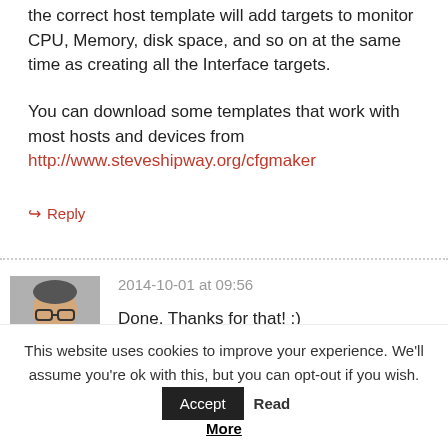the correct host template will add targets to monitor CPU, Memory, disk space, and so on at the same time as creating all the Interface targets.
You can download some templates that work with most hosts and devices from http://www.steveshipway.org/cfgmaker
↳ Reply
2014-10-01 at 09:56
Done. Thanks for that! :)
This website uses cookies to improve your experience. We'll assume you're ok with this, but you can opt-out if you wish. Accept Read More